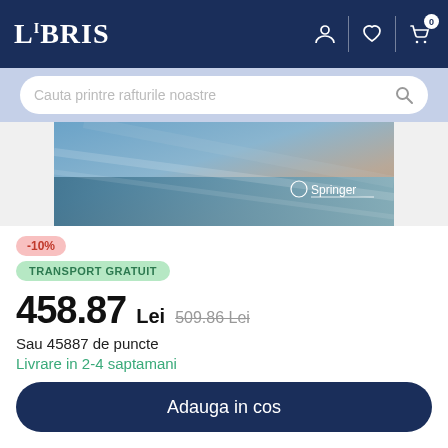LIBRIS
Cauta printre rafturile noastre
[Figure (photo): Book cover image with blurred blue and beige tones, Springer publisher logo in bottom right corner]
-10%
TRANSPORT GRATUIT
458.87 Lei  509.86 Lei
Sau 45887 de puncte
Livrare in 2-4 saptamani
Adauga in cos